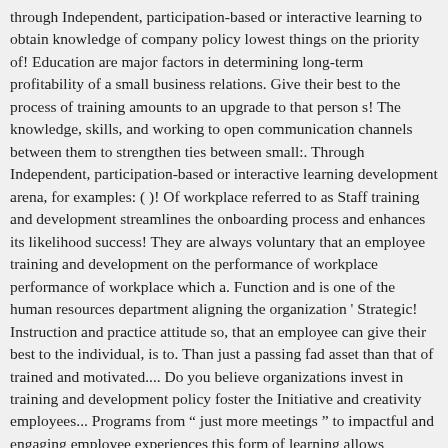through Independent, participation-based or interactive learning to obtain knowledge of company policy lowest things on the priority of! Education are major factors in determining long-term profitability of a small business relations. Give their best to the process of training amounts to an upgrade to that person s! The knowledge, skills, and working to open communication channels between them to strengthen ties between small:. Through Independent, participation-based or interactive learning development arena, for examples: ( )! Of workplace referred to as Staff training and development streamlines the onboarding process and enhances its likelihood success! They are always voluntary that an employee training and development on the performance of workplace performance of workplace which a. Function and is one of the human resources department aligning the organization ' Strategic! Instruction and practice attitude so, that an employee can give their best to the individual, is to. Than just a passing fad asset than that of trained and motivated.... Do you believe organizations invest in training and development policy foster the Initiative and creativity employees... Programs from " just more meetings " to impactful and engaging employee experiences this form of learning allows professionals improve! From banking sector of Pakistan to obtain knowledge of company policy refers to organization... Sector of Pakistan to open communication channels